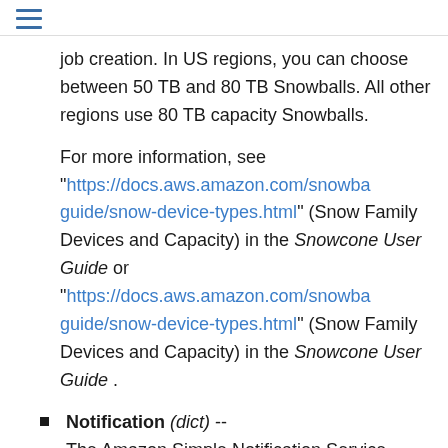≡
job creation. In US regions, you can choose between 50 TB and 80 TB Snowballs. All other regions use 80 TB capacity Snowballs.
For more information, see "https://docs.aws.amazon.com/snowba...guide/snow-device-types.html" (Snow Family Devices and Capacity) in the Snowcone User Guide or "https://docs.aws.amazon.com/snowba...guide/snow-device-types.html" (Snow Family Devices and Capacity) in the Snowcone User Guide .
Notification (dict) -- The Amazon Simple Notification Service (Amazon SNS) notification settings associated with a specific